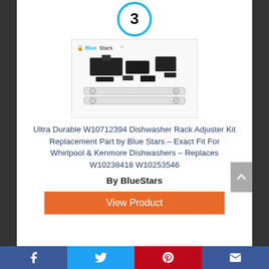[Figure (other): Blue circle badge with number 3 inside]
[Figure (photo): Product photo of Ultra Durable W10712394 Dishwasher Rack Adjuster Kit by BlueStars showing metal rail components and black plastic adjusters on white background with BlueStar logo]
Ultra Durable W10712394 Dishwasher Rack Adjuster Kit Replacement Part by Blue Stars – Exact Fit For Whirlpool & Kenmore Dishwashers – Replaces W10238418 W10253546
By BlueStars
[Figure (other): Orange 'View Product' button]
Facebook | Twitter | Pinterest | Email social share bar